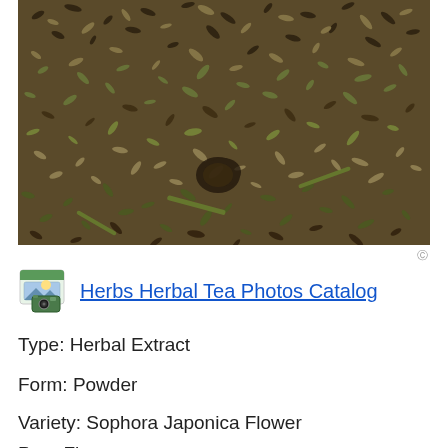[Figure (photo): Close-up photo of dried herbal seeds and plant material, showing a mixture of small dark and green/tan colored seeds and seed pods densely packed together — likely dried Sophora japonica flower buds/seeds.]
Herbs Herbal Tea Photos Catalog
Type: Herbal Extract
Form: Powder
Variety: Sophora Japonica Flower
Part: Fl...